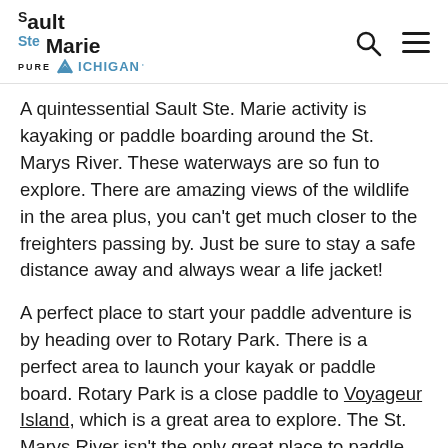Sault Ste Marie PURE MICHIGAN
A quintessential Sault Ste. Marie activity is kayaking or paddle boarding around the St. Marys River. These waterways are so fun to explore. There are amazing views of the wildlife in the area plus, you can't get much closer to the freighters passing by. Just be sure to stay a safe distance away and always wear a life jacket!
A perfect place to start your paddle adventure is by heading over to Rotary Park. There is a perfect area to launch your kayak or paddle board. Rotary Park is a close paddle to Voyageur Island, which is a great area to explore. The St. Marys River isn't the only great place to paddle though! Head back over to Brimley State Park and bring your gear with you. There is something so fun and freeing about